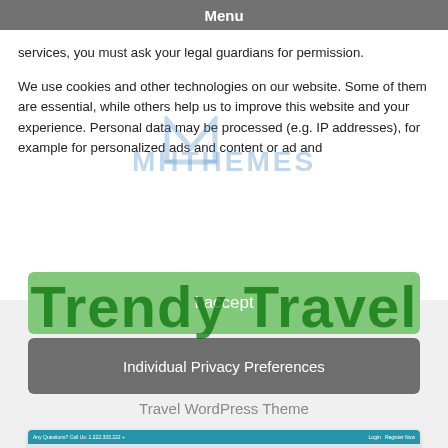Menu
services, you must ask your legal guardians for permission.
We use cookies and other technologies on our website. Some of them are essential, while others help us to improve this website and your experience. Personal data may be processed (e.g. IP addresses), for example for personalized ads and content or ad and
[Figure (screenshot): Green 'I accept' button with watermark text 'Trendy Travel' overlaid in dark green]
[Figure (screenshot): Gray 'Individual Privacy Preferences' button with 'Travel WordPress Theme' text below]
[Figure (screenshot): Screenshot of Trendy Travel WordPress theme website with blue header bar]
[Figure (infographic): Row of four social media icon circles: Facebook (blue), Twitter (light blue), WhatsApp (green), Email (gray)]